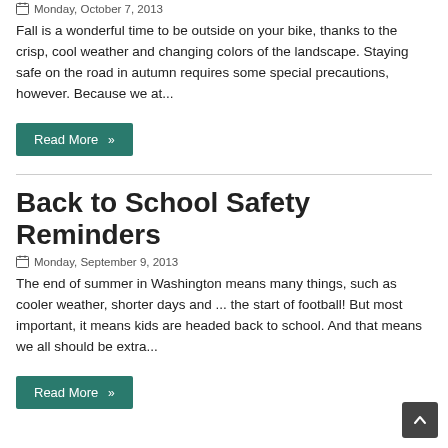Monday, October 7, 2013
Fall is a wonderful time to be outside on your bike, thanks to the crisp, cool weather and changing colors of the landscape. Staying safe on the road in autumn requires some special precautions, however. Because we at...
Read More »
Back to School Safety Reminders
Monday, September 9, 2013
The end of summer in Washington means many things, such as cooler weather, shorter days and ... the start of football! But most important, it means kids are headed back to school. And that means we all should be extra...
Read More »